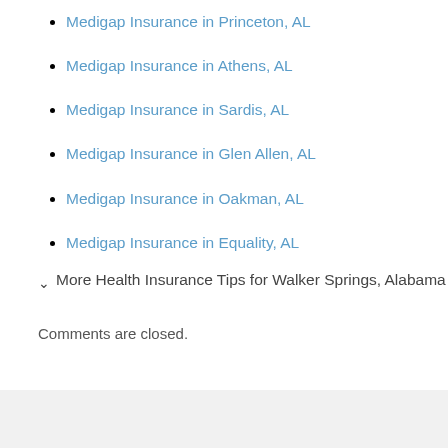Medigap Insurance in Princeton, AL
Medigap Insurance in Athens, AL
Medigap Insurance in Sardis, AL
Medigap Insurance in Glen Allen, AL
Medigap Insurance in Oakman, AL
Medigap Insurance in Equality, AL
More Health Insurance Tips for Walker Springs, Alabama
Comments are closed.